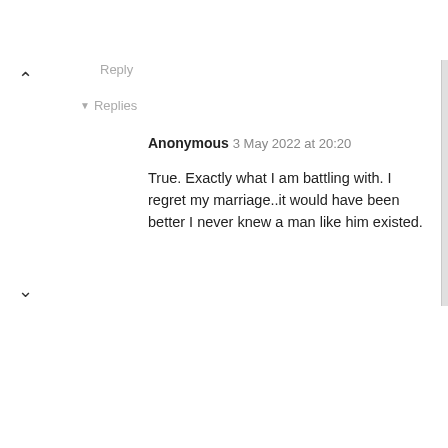Reply
▾ Replies
Anonymous 3 May 2022 at 20:20
True. Exactly what I am battling with. I regret my marriage..it would have been better I never knew a man like him existed.